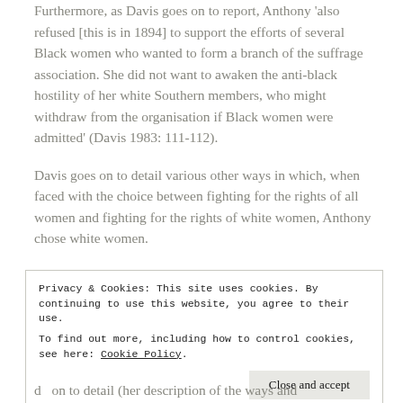Furthermore, as Davis goes on to report, Anthony 'also refused [this is in 1894] to support the efforts of several Black women who wanted to form a branch of the suffrage association. She did not want to awaken the anti-black hostility of her white Southern members, who might withdraw from the organisation if Black women were admitted' (Davis 1983: 111-112).
Davis goes on to detail various other ways in which, when faced with the choice between fighting for the rights of all women and fighting for the rights of white women, Anthony chose white women.
Privacy & Cookies: This site uses cookies. By continuing to use this website, you agree to their use.
To find out more, including how to control cookies, see here: Cookie Policy
Close and accept
d on to detail (her description of the ways and